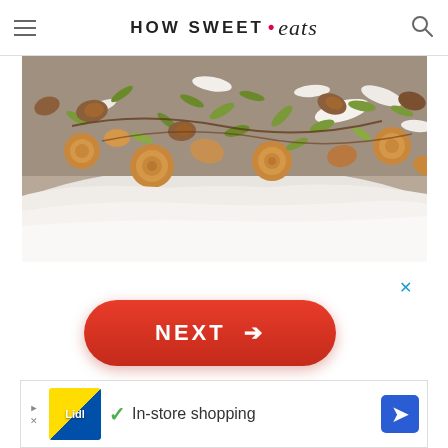HOW SWEET • eats
[Figure (photo): Close-up photo of a trail mix or snack mix on a white plate/tray, featuring pretzels, pecans, pumpkin seeds, coconut flakes, and other mixed nuts and dried fruits]
[Figure (other): Red NEXT button with right arrow, part of an ad or slideshow navigation]
[Figure (other): Bottom banner advertisement for Lidl showing 'In-store shopping' with a checkmark and navigation arrow icon]